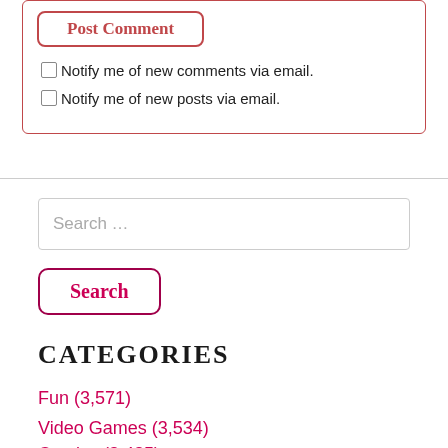Post Comment (button)
Notify me of new comments via email.
Notify me of new posts via email.
Search ...
Search (button)
Categories
Fun (3,571)
Video Games (3,534)
Comics (3,435)